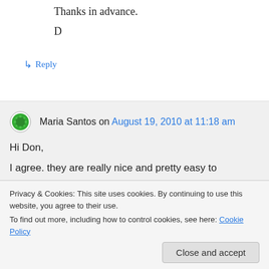Thanks in advance.
D
↳ Reply
Maria Santos on August 19, 2010 at 11:18 am
Hi Don,
I agree. they are really nice and pretty easy to implement.
Privacy & Cookies: This site uses cookies. By continuing to use this website, you agree to their use.
To find out more, including how to control cookies, see here: Cookie Policy
Close and accept